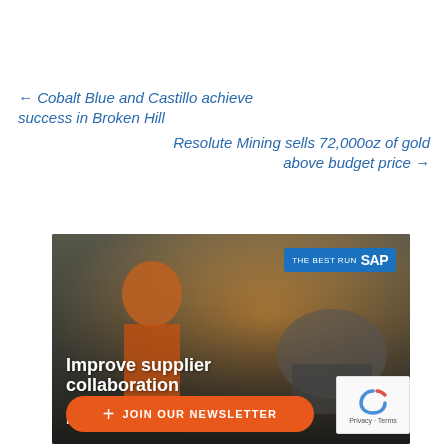← Cobalt Blue and Castillo achieve success in Broken Hill
Resolute Mining sells 72,000oz of gold above budget price →
[Figure (photo): SAP advertisement banner showing a worker in orange safety gear and helmet looking at a tablet, with a cement mixer truck in the background. Text reads: THE BEST RUN SAP, Improve supplier collaboration, Learn from industry leaders.]
+ JOIN OUR NEWSLETTER